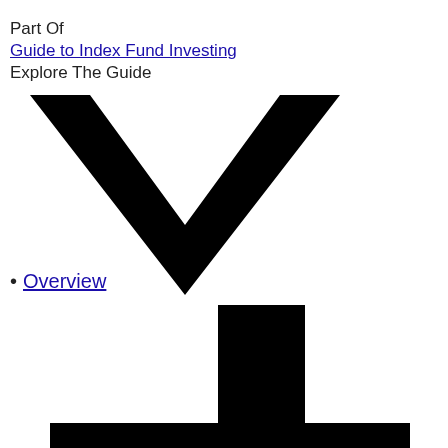Part Of
Guide to Index Fund Investing
Explore The Guide
[Figure (illustration): Large black chevron/checkmark shape pointing downward]
Overview
[Figure (illustration): Abstract black rectangular bar graphic at bottom of page, resembling a bar chart or decorative block element]